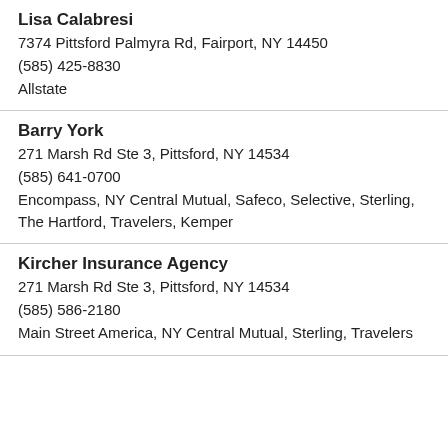Lisa Calabresi
7374 Pittsford Palmyra Rd, Fairport, NY 14450
(585) 425-8830
Allstate
Barry York
271 Marsh Rd Ste 3, Pittsford, NY 14534
(585) 641-0700
Encompass, NY Central Mutual, Safeco, Selective, Sterling, The Hartford, Travelers, Kemper
Kircher Insurance Agency
271 Marsh Rd Ste 3, Pittsford, NY 14534
(585) 586-2180
Main Street America, NY Central Mutual, Sterling, Travelers